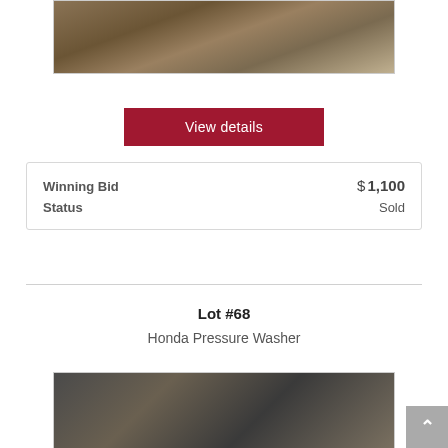[Figure (photo): Photo of a pallet or wooden item wrapped in plastic on a concrete floor]
View details
|  |  |
| --- | --- |
| Winning Bid | $ 1,100 |
| Status | Sold |
Lot #68
Honda Pressure Washer
[Figure (photo): Photo of a Honda pressure washer with hoses on a concrete floor]